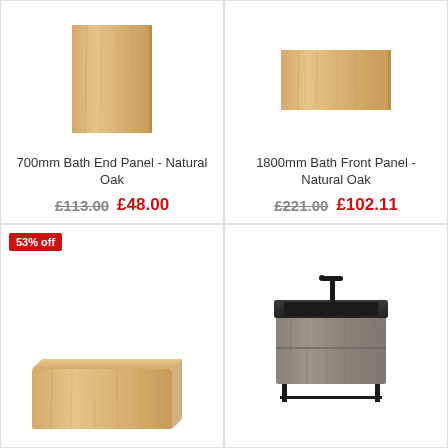[Figure (photo): 700mm Bath End Panel in Natural Oak finish - rectangular flat panel]
700mm Bath End Panel - Natural Oak
£113.00 £48.00
[Figure (photo): 1800mm Bath Front Panel in Natural Oak finish - large rectangular flat panel]
1800mm Bath Front Panel - Natural Oak
£221.00 £102.11
[Figure (photo): Bath panel in Natural Oak - L-shaped/corner bath panel]
53% off
[Figure (photo): Floor standing vanity unit with dark grey/charcoal basin and black tap, grey wood finish cabinet with black frame legs]